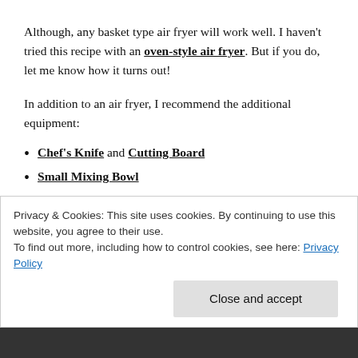Although, any basket type air fryer will work well. I haven’t tried this recipe with an oven-style air fryer. But if you do, let me know how it turns out!
In addition to an air fryer, I recommend the additional equipment:
Chef’s Knife and Cutting Board
Small Mixing Bowl
4″ inch ramekins
Canning Jar Lifter or Silicone, Heat Resistant
Privacy & Cookies: This site uses cookies. By continuing to use this website, you agree to their use. To find out more, including how to control cookies, see here: Privacy Policy
Close and accept